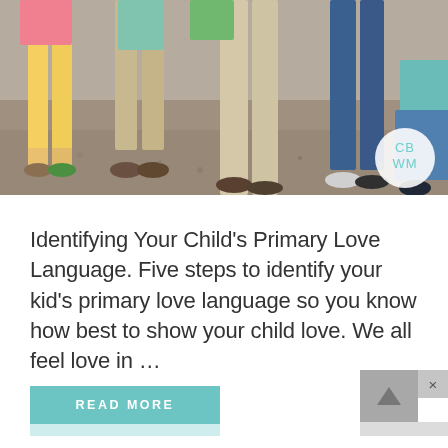[Figure (photo): Family photo showing legs and feet of multiple children and adults standing on a gravel/dirt ground. A circular logo with 'CB WM' text in teal is visible in the bottom right of the photo.]
Identifying Your Child’s Primary Love Language. Five steps to identify your kid’s primary love language so you know how best to show your child love. We all feel love in …
READ MORE